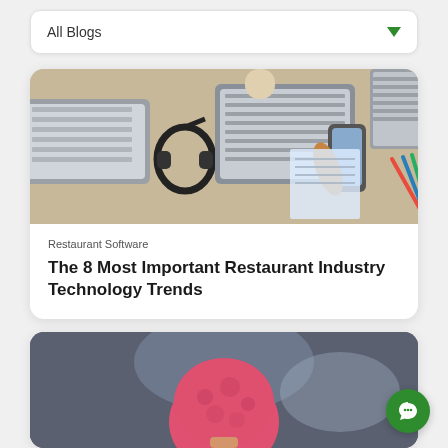All Blogs
[Figure (photo): Overhead view of a desk with laptops, headphones, a smartphone being held, pens, and notes on a light wooden surface.]
Restaurant Software
The 8 Most Important Restaurant Industry Technology Trends
[Figure (photo): Close-up photo of a pink/red strawberry ice cream scoop being held, with a blurred background.]